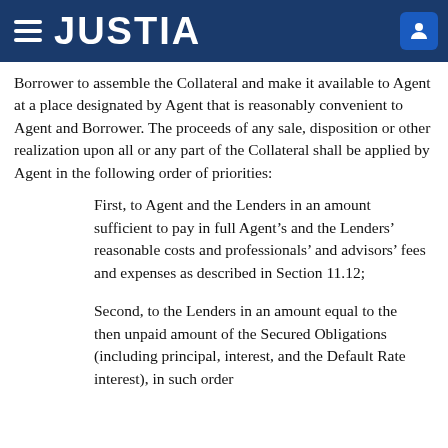JUSTIA
Borrower to assemble the Collateral and make it available to Agent at a place designated by Agent that is reasonably convenient to Agent and Borrower. The proceeds of any sale, disposition or other realization upon all or any part of the Collateral shall be applied by Agent in the following order of priorities:
First, to Agent and the Lenders in an amount sufficient to pay in full Agent’s and the Lenders’ reasonable costs and professionals’ and advisors’ fees and expenses as described in Section 11.12;
Second, to the Lenders in an amount equal to the then unpaid amount of the Secured Obligations (including principal, interest, and the Default Rate interest), in such order